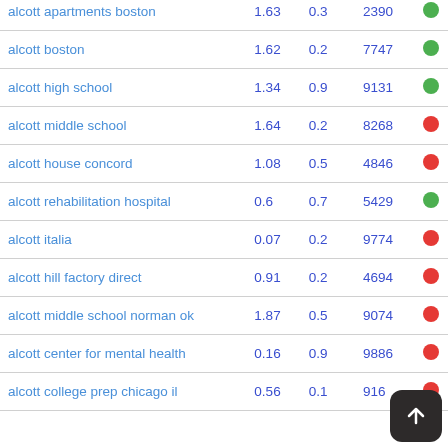| keyword | col1 | col2 | col3 |  |
| --- | --- | --- | --- | --- |
| alcott apartments boston | 1.63 | 0.3 | 2390 | green |
| alcott boston | 1.62 | 0.2 | 7747 | green |
| alcott high school | 1.34 | 0.9 | 9131 | green |
| alcott middle school | 1.64 | 0.2 | 8268 | red |
| alcott house concord | 1.08 | 0.5 | 4846 | red |
| alcott rehabilitation hospital | 0.6 | 0.7 | 5429 | green |
| alcott italia | 0.07 | 0.2 | 9774 | red |
| alcott hill factory direct | 0.91 | 0.2 | 4694 | red |
| alcott middle school norman ok | 1.87 | 0.5 | 9074 | red |
| alcott center for mental health | 0.16 | 0.9 | 9886 | red |
| alcott college prep chicago il | 0.56 | 0.1 | 916 | red |